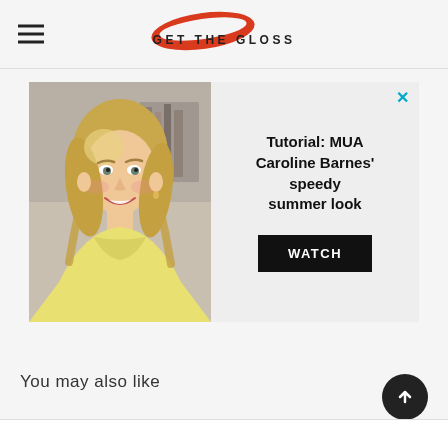GET THE GLOSS
[Figure (infographic): Advertisement banner with a photo of a blonde woman in a yellow sweater on the left and text 'Tutorial: MUA Caroline Barnes' speedy summer look' with a WATCH button on the right]
You may also like